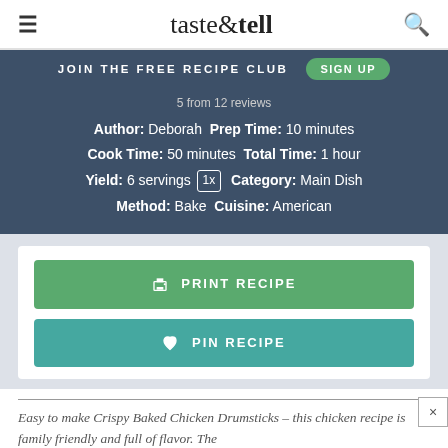taste & tell
JOIN THE FREE RECIPE CLUB   SIGN UP
5 from 12 reviews
Author: Deborah  Prep Time: 10 minutes
Cook Time: 50 minutes  Total Time: 1 hour
Yield: 6 servings 1x  Category: Main Dish
Method: Bake  Cuisine: American
PRINT RECIPE
PIN RECIPE
Easy to make Crispy Baked Chicken Drumsticks – this chicken recipe is family friendly and full of flavor. The